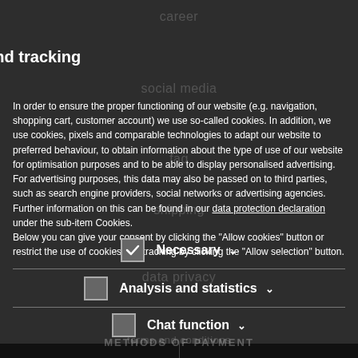career
Cookies and tracking
social media
In order to ensure the proper functioning of our website (e.g. navigation, shopping cart, customer account) we use so-called cookies. In addition, we use cookies, pixels and comparable technologies to adapt our website to preferred behaviour, to obtain information about the type of use of our website for optimisation purposes and to be able to display personalised advertising. For advertising purposes, this data may also be passed on to third parties, such as search engine providers, social networks or advertising agencies.
Further information on this can be found in our data protection declaration under the sub-item Cookies.
Below you can give your consent by clicking the "Allow cookies" button or restrict the use of cookies and tracking by clicking the "Allow selection" button.
Necessary
Analysis and statistics
Chat function
[Figure (screenshot): App Store and Google Play download buttons on dark background]
Allow selection
Allow Cookies
METHODS OF PAYMENT